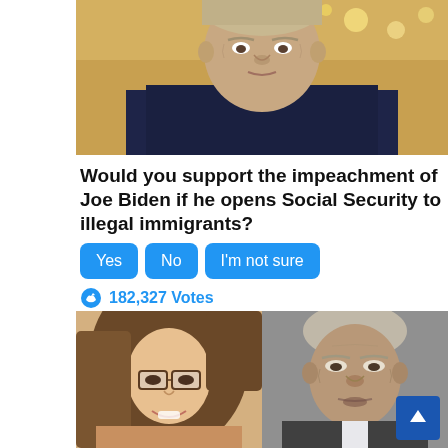[Figure (photo): Portrait photo of Joe Biden in a dark suit and tie, indoor setting with golden background]
Would you support the impeachment of Joe Biden if he opens Social Security to illegal immigrants?
Yes
No
I'm not sure
182,327 Votes
[Figure (photo): Side-by-side photos: left shows a woman with glasses and long brown hair smiling; right shows Joe Biden with a serious expression]